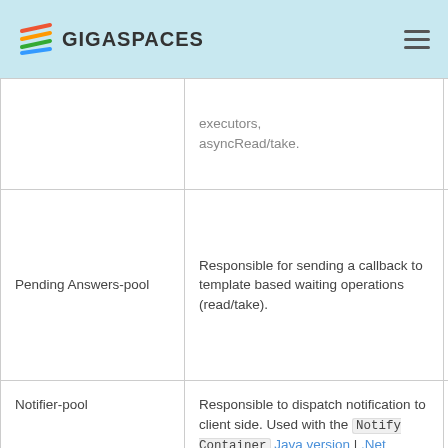GIGASPACES
| Pool Name | Description | Config Property |
| --- | --- | --- |
|  | executors, asyncRead/take. |  |
| Pending Answers-pool | Responsible for sending a callback to template based waiting operations (read/take). | space-con space-con |
| Notifier-pool | Responsible to dispatch notification to client side. Used with the Notify Container Java version | .Net version and Session Based Messaging API. See the Scaling Notification | space-config.eng space-config.eng |